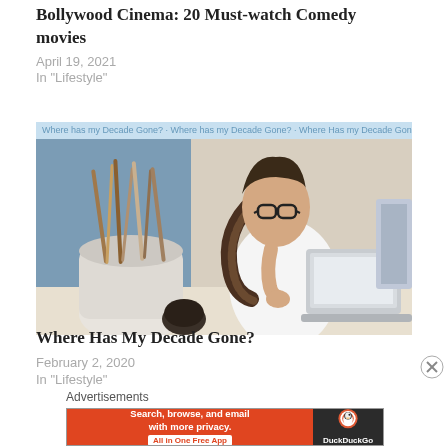Bollywood Cinema: 20 Must-watch Comedy movies
April 19, 2021
In "Lifestyle"
[Figure (photo): Woman with glasses and braided hair sitting at a desk in front of a laptop, resting her chin on her hand, with art supplies in the foreground. Watermark text reads: Where has my Decade Gone? Where has my Decade Gone? Where Has my Decade Gone?]
Where Has My Decade Gone?
February 2, 2020
In "Lifestyle"
Advertisements
[Figure (infographic): DuckDuckGo advertisement banner: orange left side reads 'Search, browse, and email with more privacy. All in One Free App', dark right side shows DuckDuckGo duck logo and brand name.]